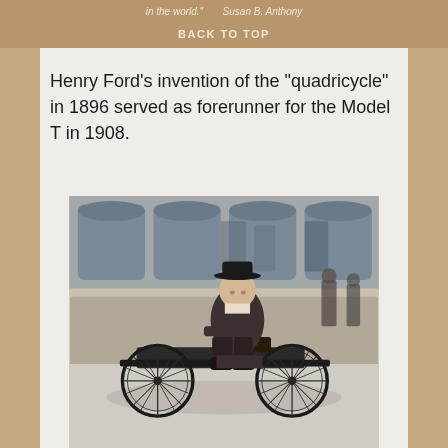in the world." Susan B. Anthony | BACK TO TOP
Henry Ford’s invention of the “quadricycle” in 1896 served as forerunner for the Model T in 1908.
[Figure (photo): Black and white historical photograph of a man in a bowler hat and coat riding Henry Ford's quadricycle, a four-wheeled early automobile with spoke wheels, in front of a large building with arched windows.]